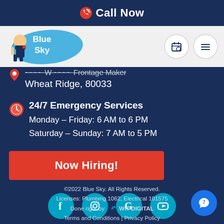Call Now
[Figure (logo): Blue Sky plumbing company logo with cartoon plumber character on blue splash background]
Wheat Ridge, 80033
24/7 Emergency Services
Monday – Friday: 6 AM to 6 PM
Saturday – Sunday: 7 AM to 5 PM
Now Hiring!
[Figure (infographic): Social media icons: Facebook, Instagram, Google, YouTube — cyan circles]
©2022 Blue Sky. All Rights Reserved.
Licenses: Plumbing 1062, Electrical 101575
Done right by WIT DIGITAL
Terms and Conditions | Privacy Policy